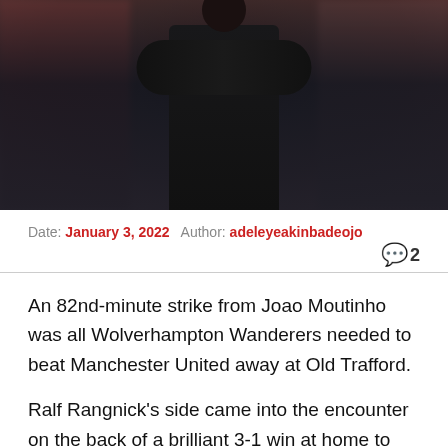[Figure (photo): A football manager in a dark jacket gesturing, with a blurred crowd in the background at a stadium.]
Date: January 3, 2022   Author: adeleyeakinbadeojo   💬 2
An 82nd-minute strike from Joao Moutinho was all Wolverhampton Wanderers needed to beat Manchester United away at Old Trafford.
Ralf Rangnick's side came into the encounter on the back of a brilliant 3-1 win at home to Burnley during the